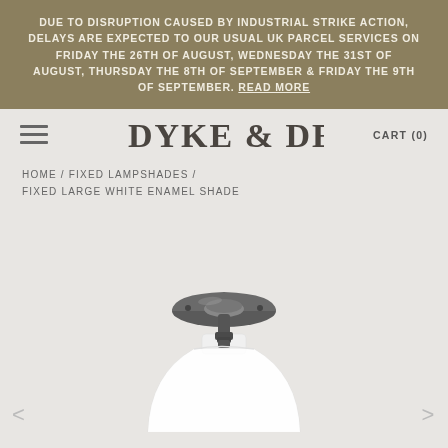DUE TO DISRUPTION CAUSED BY INDUSTRIAL STRIKE ACTION, DELAYS ARE EXPECTED TO OUR USUAL UK PARCEL SERVICES ON FRIDAY THE 26TH OF AUGUST, WEDNESDAY THE 31ST OF AUGUST, THURSDAY THE 8TH OF SEPTEMBER & FRIDAY THE 9TH OF SEPTEMBER. READ MORE
DYKE & DEAN | CART (0)
HOME / FIXED LAMPSHADES / FIXED LARGE WHITE ENAMEL SHADE
[Figure (photo): Close-up photograph of the top portion of a white enamel lampshade with a dark metal ceiling rose/canopy fitting at the top center, against a light grey background.]